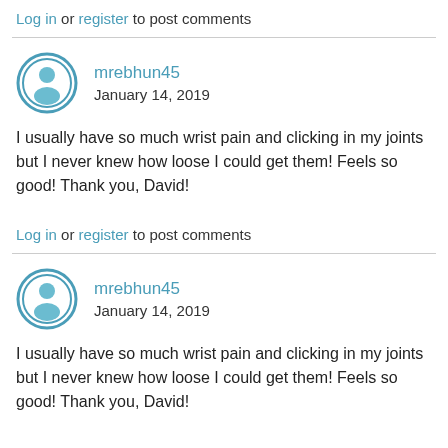Log in or register to post comments
mrebhun45
January 14, 2019
I usually have so much wrist pain and clicking in my joints but I never knew how loose I could get them! Feels so good! Thank you, David!
Log in or register to post comments
mrebhun45
January 14, 2019
I usually have so much wrist pain and clicking in my joints but I never knew how loose I could get them! Feels so good! Thank you, David!